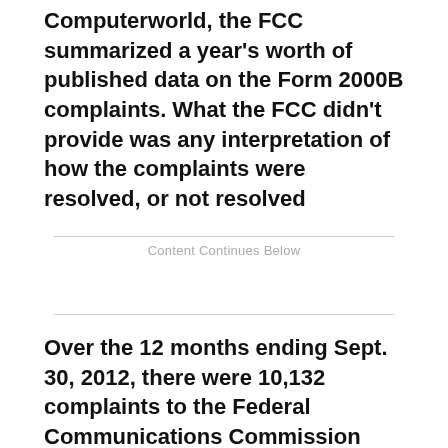Computerworld, the FCC summarized a year's worth of published data on the Form 2000B complaints. What the FCC didn't provide was any interpretation of how the complaints were resolved, or not resolved
Content Continues Below
Over the 12 months ending Sept. 30, 2012, there were 10,132 complaints to the Federal Communications Commission  regarding poor wireless service. That's the most recent data available.
[ REGISTER NOW for CIO 100: Symposium &